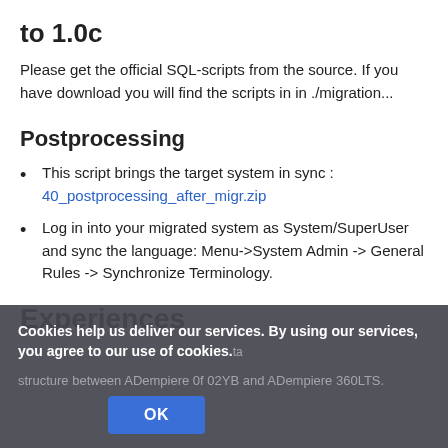to 1.0c
Please get the official SQL-scripts from the source. If you have download you will find the scripts in in ./migration...
Postprocessing
This script brings the target system in sync : 40_postprocessing_after_migr.zip
Log in into your migrated system as System/SuperUser and sync the language: Menu->System Admin -> General Rules -> Synchronize Terminology.
Experiences
Cookies help us deliver our services. By using our services, you agree to our use of cookies.
structure between ADempiere 0f 02YB and ADempiere 360LTS.